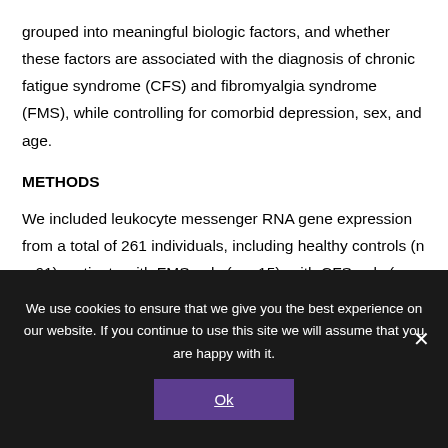grouped into meaningful biologic factors, and whether these factors are associated with the diagnosis of chronic fatigue syndrome (CFS) and fibromyalgia syndrome (FMS), while controlling for comorbid depression, sex, and age.
METHODS
We included leukocyte messenger RNA gene expression from a total of 261 individuals, including healthy controls (n = 61), patients with FMS only (n = 15), with CFS only (n = 33), with comorbid CFS and FMS (n = 79), and with medication-resistant (n = 42) or medication-responsive (n =
We use cookies to ensure that we give you the best experience on our website. If you continue to use this site we will assume that you are happy with it.